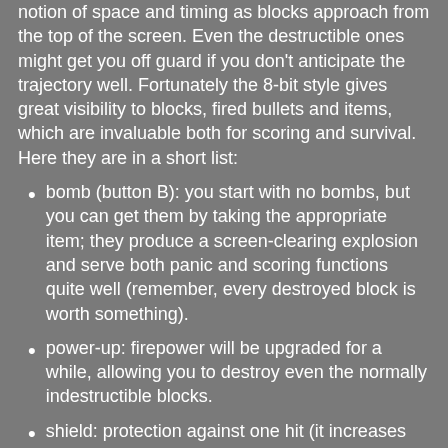notion of space and timing as blocks approach from the top of the screen. Even the destructible ones might get you off guard if you don't anticipate the trajectory well. Fortunately the 8-bit style gives great visibility to blocks, fired bullets and items, which are invaluable both for scoring and survival. Here they are in a short list:
bomb (button B): you start with no bombs, but you can get them by taking the appropriate item; they produce a screen-clearing explosion and serve both panic and scoring functions quite well (remember, every destroyed block is worth something).
power-up: firepower will be upgraded for a while, allowing you to destroy even the normally indestructible blocks.
shield: protection against one hit (it increases the hitbox a little bit).
invincibility (blue star): crash against everything for a few seconds, a sound cue will play briefly before the effect is gone.